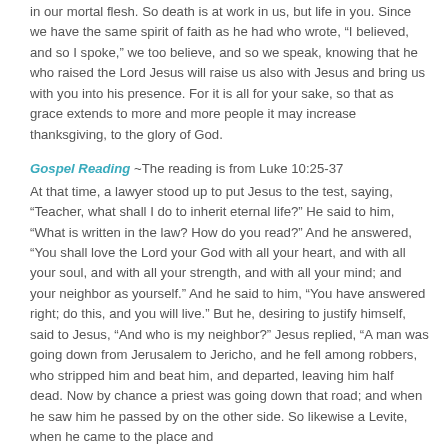in our mortal flesh. So death is at work in us, but life in you. Since we have the same spirit of faith as he had who wrote, “I believed, and so I spoke,” we too believe, and so we speak, knowing that he who raised the Lord Jesus will raise us also with Jesus and bring us with you into his presence. For it is all for your sake, so that as grace extends to more and more people it may increase thanksgiving, to the glory of God.
Gospel Reading ~The reading is from Luke 10:25-37
At that time, a lawyer stood up to put Jesus to the test, saying, “Teacher, what shall I do to inherit eternal life?” He said to him, “What is written in the law? How do you read?” And he answered, “You shall love the Lord your God with all your heart, and with all your soul, and with all your strength, and with all your mind; and your neighbor as yourself.” And he said to him, “You have answered right; do this, and you will live.” But he, desiring to justify himself, said to Jesus, “And who is my neighbor?” Jesus replied, “A man was going down from Jerusalem to Jericho, and he fell among robbers, who stripped him and beat him, and departed, leaving him half dead. Now by chance a priest was going down that road; and when he saw him he passed by on the other side. So likewise a Levite, when he came to the place and